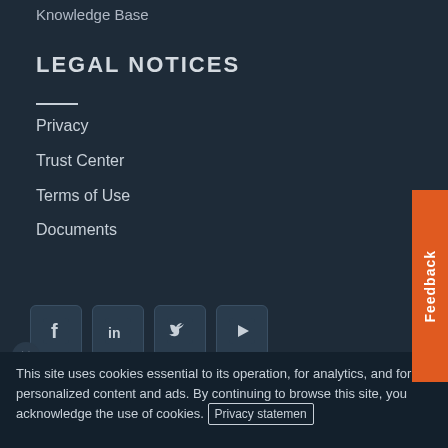Knowledge Base
LEGAL NOTICES
Privacy
Trust Center
Terms of Use
Documents
[Figure (illustration): Social media icons: Facebook, LinkedIn, Twitter, YouTube]
© 2022 Palo Alto Networks, Inc. All rights reserved.
This site uses cookies essential to its operation, for analytics, and for personalized content and ads. By continuing to browse this site, you acknowledge the use of cookies. Privacy statement